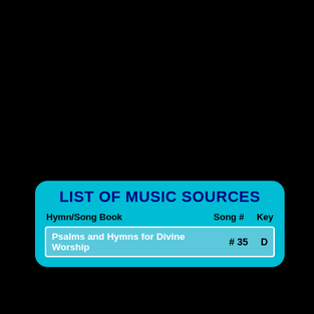LIST OF MUSIC SOURCES
| Hymn/Song Book | Song # | Key |
| --- | --- | --- |
| Psalms and Hymns for Divine Worship | # 35 | D |